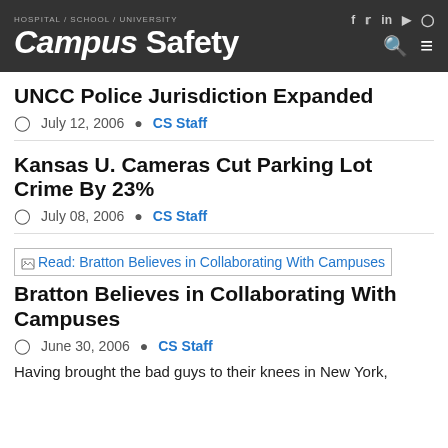Campus Safety — Hospital / School / University
UNCC Police Jurisdiction Expanded
July 12, 2006  CS Staff
Kansas U. Cameras Cut Parking Lot Crime By 23%
July 08, 2006  CS Staff
[Figure (screenshot): Broken image placeholder with link text: Read: Bratton Believes in Collaborating With Campuses]
Bratton Believes in Collaborating With Campuses
June 30, 2006  CS Staff
Having brought the bad guys to their knees in New York,